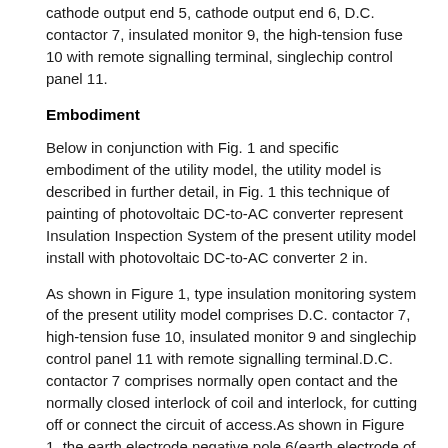cathode output end 5, cathode output end 6, D.C. contactor 7, insulated monitor 9, the high-tension fuse 10 with remote signalling terminal, singlechip control panel 11.
Embodiment
Below in conjunction with Fig. 1 and specific embodiment of the utility model, the utility model is described in further detail, in Fig. 1 this technique of painting of photovoltaic DC-to-AC converter represent Insulation Inspection System of the present utility model install with photovoltaic DC-to-AC converter 2 in.
As shown in Figure 1, type insulation monitoring system of the present utility model comprises D.C. contactor 7, high-tension fuse 10, insulated monitor 9 and singlechip control panel 11 with remote signalling terminal.D.C. contactor 7 comprises normally open contact and the normally closed interlock of coil and interlock, for cutting off or connect the circuit of access.As shown in Figure 1, the earth electrode negative pole 6(earth electrode of solar photovoltaic assembly 1 can be positive pole and also can be negative pole) with being connected of the normally closed interlock of D.C. contactor 7 and one end of normally open